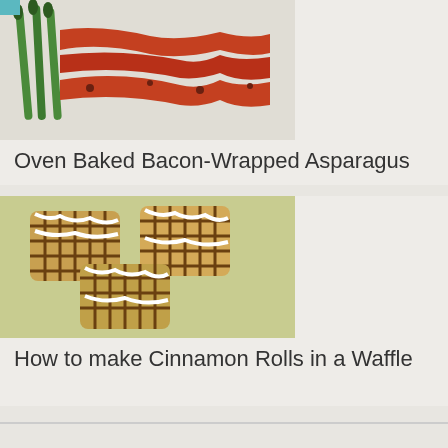[Figure (photo): Oven baked bacon-wrapped asparagus on a white plate, showing crispy bacon wrapped around green asparagus spears]
Oven Baked Bacon-Wrapped Asparagus
[Figure (photo): Cinnamon rolls cooked in a waffle iron, showing golden-brown waffled cinnamon rolls with white icing drizzle on a green plate]
How to make Cinnamon Rolls in a Waffle